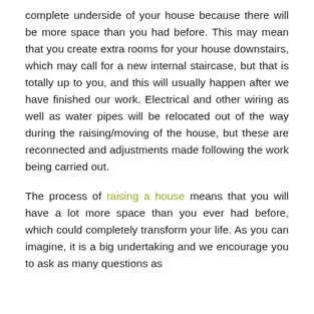complete underside of your house because there will be more space than you had before. This may mean that you create extra rooms for your house downstairs, which may call for a new internal staircase, but that is totally up to you, and this will usually happen after we have finished our work. Electrical and other wiring as well as water pipes will be relocated out of the way during the raising/moving of the house, but these are reconnected and adjustments made following the work being carried out.
The process of raising a house means that you will have a lot more space than you ever had before, which could completely transform your life. As you can imagine, it is a big undertaking and we encourage you to ask as many questions as